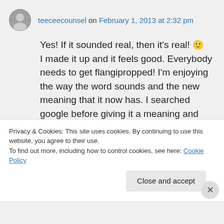teeceecounsel on February 1, 2013 at 2:32 pm
Yes! If it sounded real, then it's real! 🙂 I made it up and it feels good. Everybody needs to get flangipropped! I'm enjoying the way the word sounds and the new meaning that it now has. I searched google before giving it a meaning and there was no meaning. Many meanings are quickly springing up, but I hope that this one
Privacy & Cookies: This site uses cookies. By continuing to use this website, you agree to their use.
To find out more, including how to control cookies, see here: Cookie Policy
Close and accept